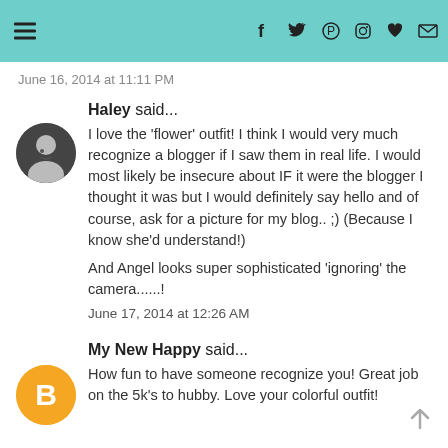Navigation and social media icons header bar
June 16, 2014 at 11:11 PM (partial, cut off)
Haley said...
I love the 'flower' outfit! I think I would very much recognize a blogger if I saw them in real life. I would most likely be insecure about IF it were the blogger I thought it was but I would definitely say hello and of course, ask for a picture for my blog.. ;) (Because I know she'd understand!)
And Angel looks super sophisticated 'ignoring' the camera......!
June 17, 2014 at 12:26 AM
My New Happy said...
How fun to have someone recognize you! Great job on the 5k's to hubby. Love your colorful outfit!